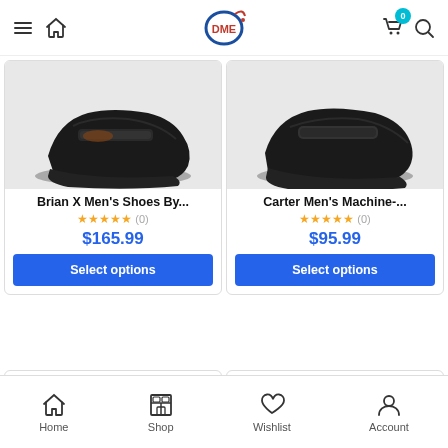DME shop header with navigation
[Figure (screenshot): Product card: Brian X Men's Shoes - black velcro shoe image, 0 star rating, $165.99 price, Select options button]
[Figure (screenshot): Product card: Carter Men's Machine - black velcro shoe image, 0 star rating, $95.99 price, Select options button]
Brian X Men's Shoes By...
☆☆☆☆☆ (0)
$165.99
Select options
Carter Men's Machine-...
☆☆☆☆☆ (0)
$95.99
Select options
Home  Shop  Wishlist  Account